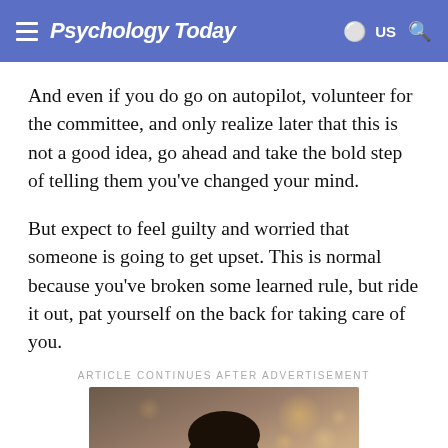Psychology Today
And even if you do go on autopilot, volunteer for the committee, and only realize later that this is not a good idea, go ahead and take the bold step of telling them you’ve changed your mind.
But expect to feel guilty and worried that someone is going to get upset. This is normal because you’ve broken some learned rule, but ride it out, pat yourself on the back for taking care of you.
ARTICLE CONTINUES AFTER ADVERTISEMENT
[Figure (photo): Advertisement photo showing a man with dark hair against a blurred background with bokeh lights, with overlaid italic text reading: "This really took]